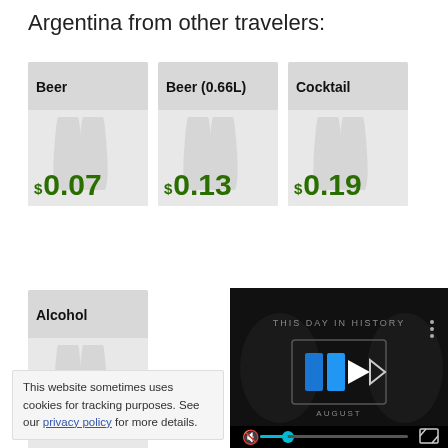Argentina from other travelers:
[Figure (infographic): Three price cards showing Beer ($0.07), Beer (0.66L) ($0.13), and Cocktail ($0.19) with champagne glass icons]
[Figure (infographic): Single price card showing Alcohol category with champagne glass icons]
This website sometimes uses cookies for tracking purposes. See our privacy policy for more details.
[Figure (screenshot): Video player showing 'THIS DAY IN HISTORY' with play button logo in blue, mute button and progress bar at bottom, fullscreen button]